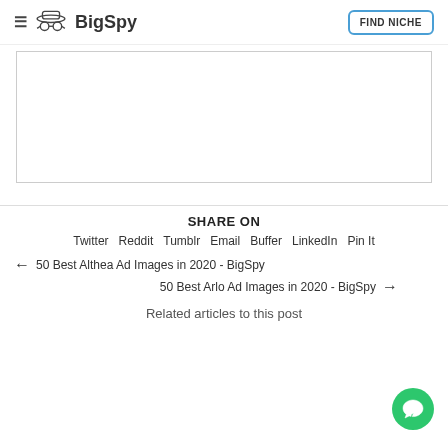BigSpy — FIND NICHE
[Figure (other): Empty bordered content box area]
SHARE ON
Twitter  Reddit  Tumblr  Email  Buffer  LinkedIn  Pin It
← 50 Best Althea Ad Images in 2020 - BigSpy
50 Best Arlo Ad Images in 2020 - BigSpy →
Related articles to this post